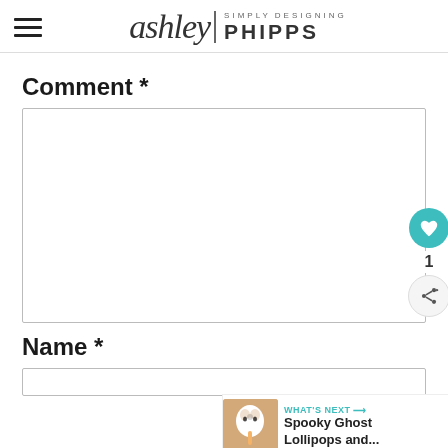[Figure (logo): Simply Designing Ashley Phipps blog logo with hamburger menu icon on the left]
Comment *
[Figure (screenshot): Empty comment text area input box]
[Figure (infographic): Floating social interaction UI: teal heart/like button with count of 1, and a share button]
[Figure (infographic): What's Next banner showing a ghost lollipops image thumbnail with text: WHAT'S NEXT → Spooky Ghost Lollipops and...]
Name *
[Figure (screenshot): Empty name text input box]